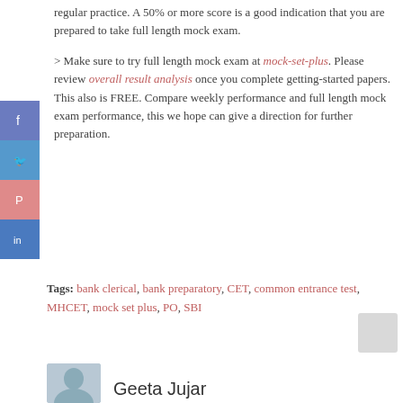regular practice. A 50% or more score is a good indication that you are prepared to take full length mock exam.
> Make sure to try full length mock exam at mock-set-plus. Please review overall result analysis once you complete getting-started papers. This also is FREE. Compare weekly performance and full length mock exam performance, this we hope can give a direction for further preparation.
Tags: bank clerical, bank preparatory, CET, common entrance test, MHCET, mock set plus, PO, SBI
Geeta Jujar